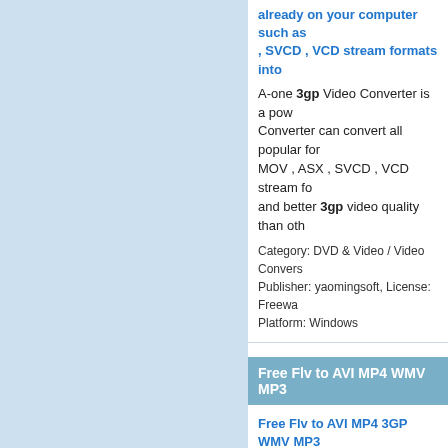already on your computer such as , SVCD , VCD stream formats into
A-one 3gp Video Converter is a pow... Converter can convert all popular for... MOV , ASX , SVCD , VCD stream fo... and better 3gp video quality than oth...
Category: DVD & Video / Video Convers... Publisher: yaomingsoft, License: Freewa... Platform: Windows
Free Flv to AVI MP4 WMV MP3
Free Flv to AVI MP4 3GP WMV MP3... which can convert flv files to othe... MP4, 3GP and MP3.
Free Flv to Avi MP4 3gp WMV MP3 which can convert flv files to other vi... and MP3.
Flv to Avi MP4 3gp WMV MP3 Conv... video/audio files with just a few clicks...
Category: Audio / Rippers & Encoders Publisher: appfree.net, License: Freewa... Platform: Windows
Free Online 3GP Converter
The online 3gp converter is a fu...